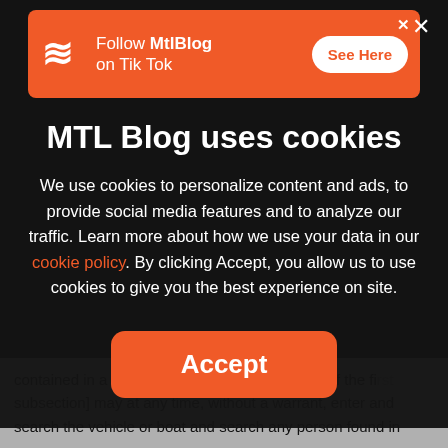[Figure (screenshot): Orange ad banner for MtlBlog on TikTok with logo, text 'Follow MtlBlog on Tik Tok', and a 'See Here' button]
MTL Blog uses cookies
We use cookies to personalize content and ads, to provide social media features and to analyze our traffic. Learn more about how we use your data in our cookie policy. By clicking Accept, you allow us to use cookies to give you the best experience on site.
Accept
contained in a vehicle or boat in contravention [of the first subsection] may at any time, without a warrant, enter and search the vehicle or boat and search any person found in